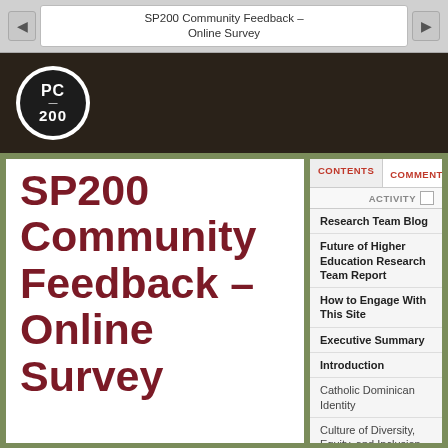SP200 Community Feedback – Online Survey
[Figure (logo): PC200 logo — black circle with white 'PC' and '200' text]
SP200 Community Feedback – Online Survey
CONTENTS
COMMENTS
ACTIVITY
Research Team Blog
Future of Higher Education Research Team Report
How to Engage With This Site
Executive Summary
Introduction
Catholic Dominican Identity
Culture of Diversity, Equity, and Inclusion
Student Development